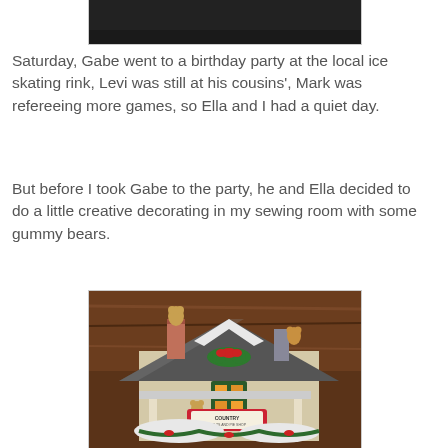[Figure (photo): Top portion of a photo (partially cut off) showing a dark background scene]
Saturday, Gabe went to a birthday party at the local ice skating rink, Levi was still at his cousins', Mark was refereeing more games, so Ella and I had a quiet day.
But before I took Gabe to the party, he and Ella decided to do a little creative decorating in my sewing room with some gummy bears.
[Figure (photo): Photo of a decorative ceramic Christmas village house labeled 'Country Quilts and Pie Shop' with gummy bears placed on top of the chimneys and around the scene. The house has a triangular roof, green wreaths, a red bow, and snow on the roof. It is set against a dark wood-paneled background.]